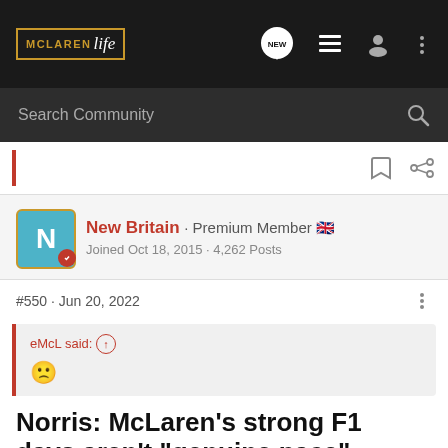McLaren Life · Search Community
New Britain · Premium Member 🇬🇧
Joined Oct 18, 2015 · 4,262 Posts
#550 · Jun 20, 2022
eMcL said: ↑
🙁
Norris: McLaren's strong F1 days aren't "genuine pace"